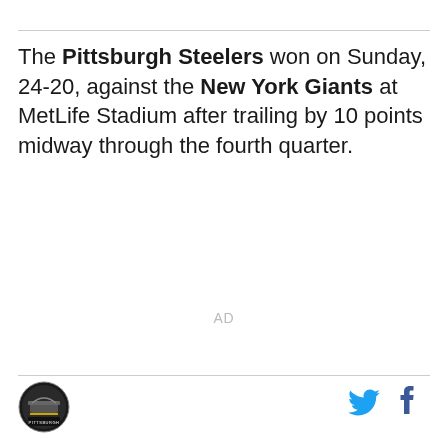The Pittsburgh Steelers won on Sunday, 24-20, against the New York Giants at MetLife Stadium after trailing by 10 points midway through the fourth quarter.
AD
[Figure (logo): Pittsburgh Steelers circular logo with stadium illustration and 'PITTSBURGH' text]
[Figure (logo): Twitter bird icon (blue) and Facebook 'f' icon (blue)]